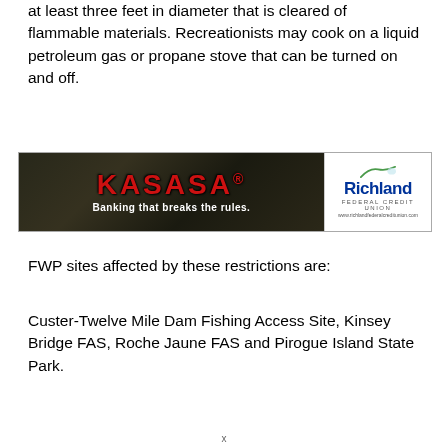at least three feet in diameter that is cleared of flammable materials. Recreationists may cook on a liquid petroleum gas or propane stove that can be turned on and off.
[Figure (photo): Advertisement banner for KASASA and Richland Federal Credit Union. Left side shows dark background with cash/money imagery, red bold text 'KASASA' with registered trademark symbol and tagline 'Banking that breaks the rules.' Right side shows white background with Richland Federal Credit Union logo in blue text with green arc graphic above it.]
FWP sites affected by these restrictions are:
Custer-Twelve Mile Dam Fishing Access Site, Kinsey Bridge FAS, Roche Jaune FAS and Pirogue Island State Park.
x